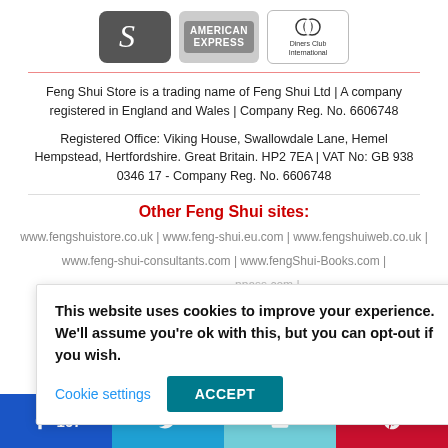[Figure (logo): Three payment/service logos: Scribd (dark grey rounded square with S), American Express (grey rounded rectangle with AMERICAN EXPRESS text), Diners Club International (rounded rectangle with circle logo and text)]
Feng Shui Store is a trading name of Feng Shui Ltd | A company registered in England and Wales | Company Reg. No. 6606748
Registered Office: Viking House, Swallowdale Lane, Hemel Hempstead, Hertfordshire. Great Britain. HP2 7EA | VAT No: GB 938 0346 17 - Company Reg. No. 6606748
Other Feng Shui sites:
www.fengshuistore.co.uk | www.feng-shui.eu.com | www.fengshuiweb.co.uk | www.feng-shui-consultants.com | www.fengShui-Books.com | ...npass.com | ...ww.TradFengShui.com ...ore
This website uses cookies to improve your experience. We'll assume you're ok with this, but you can opt-out if you wish.
Cookie settings  ACCEPT
[Figure (infographic): Social share bar with Facebook (167), Twitter, Email, and Pinterest buttons]